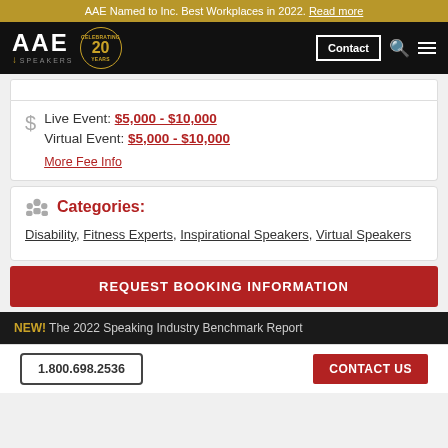AAE Named to Inc. Best Workplaces in 2022. Read more
[Figure (logo): AAE Speakers Bureau logo with celebrating 20 years badge, navigation bar with Contact button, search and menu icons]
Live Event: $5,000 - $10,000
Virtual Event: $5,000 - $10,000
More Fee Info
Categories:
Disability, Fitness Experts, Inspirational Speakers, Virtual Speakers
REQUEST BOOKING INFORMATION
NEW! The 2022 Speaking Industry Benchmark Report
1.800.698.2536   CONTACT US